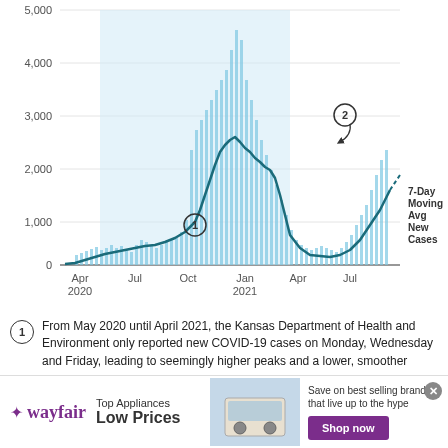[Figure (line-chart): Line chart showing 7-day moving average of new COVID-19 cases in Kansas from April 2020 to July 2021. The chart shows a major peak around January 2021 reaching approximately 2,500-2,700, with a shaded region from roughly May 2020 to April 2021. Two annotations: circle 1 labels the May 2020-April 2021 reporting period, circle 2 labels the peak around Oct-Jan. An upward trend resumes in July 2021.]
From May 2020 until April 2021, the Kansas Department of Health and Environment only reported new COVID-19 cases on Monday, Wednesday and Friday, leading to seemingly higher peaks and a lower, smoother average.